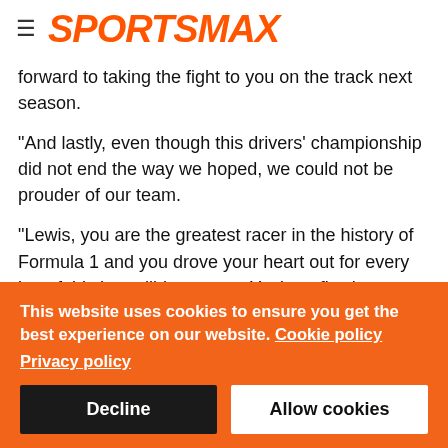SPORTSMAX
forward to taking the fight to you on the track next season.
"And lastly, even though this drivers' championship did not end the way we hoped, we could not be prouder of our team.
"Lewis, you are the greatest racer in the history of Formula 1 and you drove your heart out for every lap of this incredible season. You're a flawless sportsman on and off the track and you delivered a faultless performance.
"As a pure competitor and as a role model for millions around
This website uses cookies to ensure you get the best experience on our website. Cookie policy
Privacy policy
Decline
Allow cookies